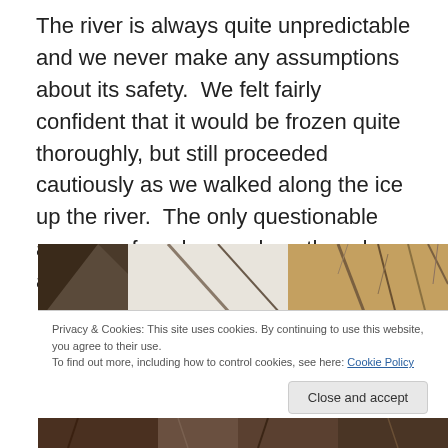The river is always quite unpredictable and we never make any assumptions about its safety.  We felt fairly confident that it would be frozen quite thoroughly, but still proceeded cautiously as we walked along the ice up the river.  The only questionable areas we found were along the edges and around downed trees.
[Figure (photo): Winter river scene with bare trees and snow-covered branches, warm brown tones]
Privacy & Cookies: This site uses cookies. By continuing to use this website, you agree to their use.
To find out more, including how to control cookies, see here: Cookie Policy
[Figure (photo): Bottom portion of winter nature photo, dark brown tones]